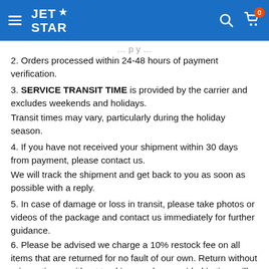Jet Star — navigation header with logo, search, and cart
2. Orders processed within 24-48 hours of payment verification.
3. SERVICE TRANSIT TIME is provided by the carrier and excludes weekends and holidays.
Transit times may vary, particularly during the holiday season.
4. If you have not received your shipment within 30 days from payment, please contact us.
We will track the shipment and get back to you as soon as possible with a reply.
5. In case of damage or loss in transit, please take photos or videos of the package and contact us immediately for further guidance.
6. Please be advised we charge a 10% restock fee on all items that are returned for no fault of our own. Return without prior notice or without tracking number provided in time will be not accepted. Buyer pays return shipping fee and all returns must be